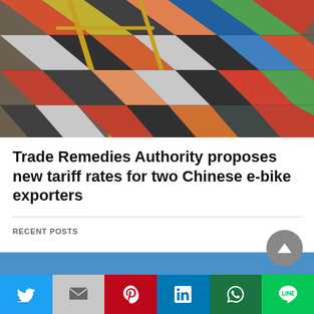[Figure (photo): Aerial view of colorful shipping containers at a port terminal, cranes visible among the stacked containers]
Trade Remedies Authority proposes new tariff rates for two Chinese e-bike exporters
RECENT POSTS
[Figure (photo): Partial view of a cargo ship on water with blue sky and white clouds in background]